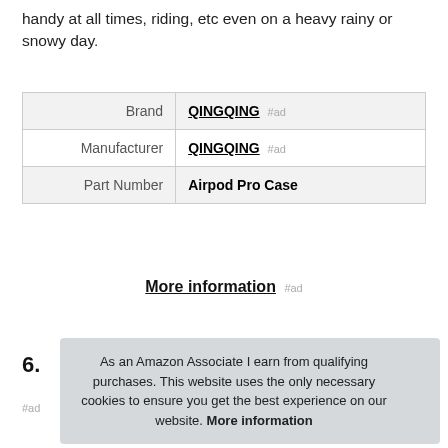handy at all times, riding, etc even on a heavy rainy or snowy day.
|  |  |
| --- | --- |
| Brand | QINGQING #ad |
| Manufacturer | QINGQING #ad |
| Part Number | Airpod Pro Case |
More information #ad
6.
As an Amazon Associate I earn from qualifying purchases. This website uses the only necessary cookies to ensure you get the best experience on our website. More information